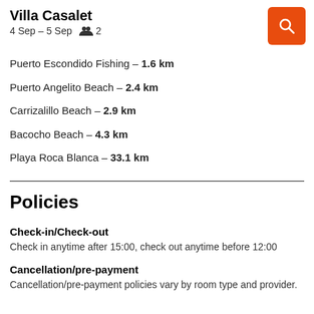Villa Casalet
4 Sep – 5 Sep  👥 2
Puerto Escondido Fishing – 1.6 km
Puerto Angelito Beach – 2.4 km
Carrizalillo Beach – 2.9 km
Bacocho Beach – 4.3 km
Playa Roca Blanca – 33.1 km
Policies
Check-in/Check-out
Check in anytime after 15:00, check out anytime before 12:00
Cancellation/pre-payment
Cancellation/pre-payment policies vary by room type and provider.